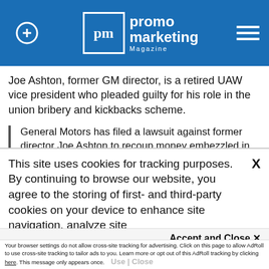promo marketing Magazine
Joe Ashton, former GM director, is a retired UAW vice president who pleaded guilty for his role in the union bribery and kickbacks scheme.
General Motors has filed a lawsuit against former director Joe Ashton to recoup money embezzled in the United Auto Workers corruption scandal. Ashton pleaded guilty
This site uses cookies for tracking purposes. By continuing to browse our website, you agree to the storing of first- and third-party cookies on your device to enhance site navigation, analyze site
usage, and assist in our marketing and
Accept and Close ✕
Your browser settings do not allow cross-site tracking for advertising. Click on this page to allow AdRoll to use cross-site tracking to tailor ads to you. Learn more or opt out of this AdRoll tracking by clicking here. This message only appears once.